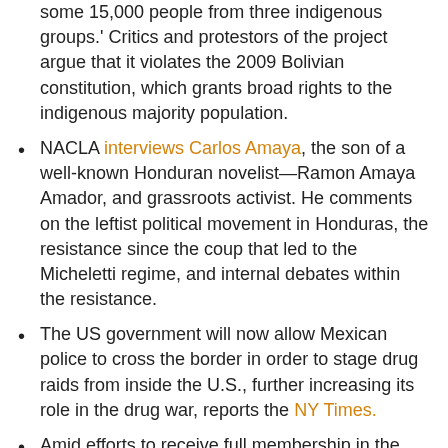some 15,000 people from three indigenous groups.' Critics and protestors of the project argue that it violates the 2009 Bolivian constitution, which grants broad rights to the indigenous majority population.
NACLA interviews Carlos Amaya, the son of a well-known Honduran novelist—Ramon Amaya Amador, and grassroots activist. He comments on the leftist political movement in Honduras, the resistance since the coup that led to the Micheletti regime, and internal debates within the resistance.
The US government will now allow Mexican police to cross the border in order to stage drug raids from inside the U.S., further increasing its role in the drug war, reports the NY Times.
Amid efforts to receive full membership in the United Nations, Palestine was recognized by El Salvador as an independent state. El Salvador's President, Mauricio Funes, said that the decision